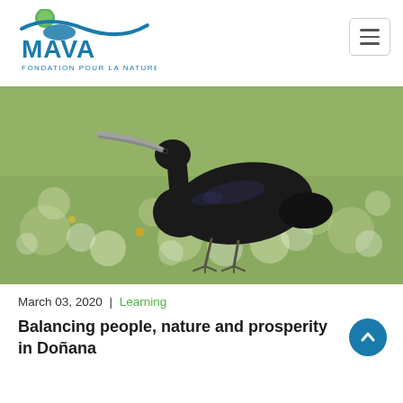[Figure (logo): MAVA Fondation Pour La Nature logo with teal wave and green circle]
[Figure (photo): A dark glossy ibis bird standing in a blurred green meadow background with white bokeh circles]
March 03, 2020 | Learning
Balancing people, nature and prosperity in Doñana